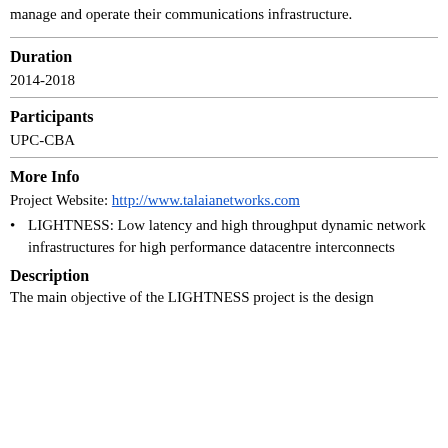manage and operate their communications infrastructure.
Duration
2014-2018
Participants
UPC-CBA
More Info
Project Website: http://www.talaianetworks.com
LIGHTNESS: Low latency and high throughput dynamic network infrastructures for high performance datacentre interconnects
Description
The main objective of the LIGHTNESS project is the design